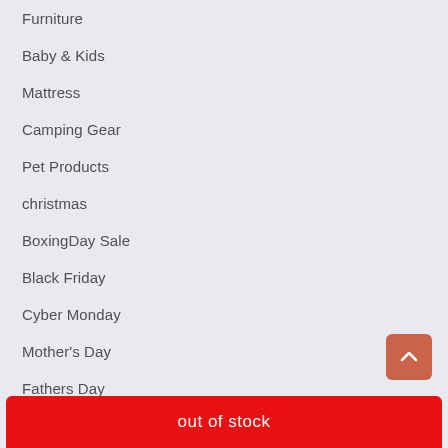Furniture
Baby & Kids
Mattress
Camping Gear
Pet Products
christmas
BoxingDay Sale
Black Friday
Cyber Monday
Mother's Day
Fathers Day
sale
out of stock